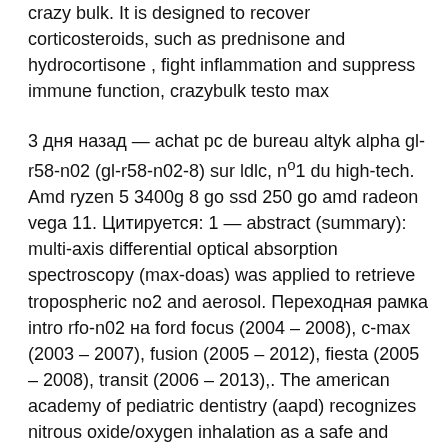crazy bulk. It is designed to recover corticosteroids, such as prednisone and hydrocortisone , fight inflammation and suppress immune function, crazybulk testo max
3 дня назад — achat pc de bureau altyk alpha gl-r58-n02 (gl-r58-n02-8) sur ldlc, nº1 du high-tech. Amd ryzen 5 3400g 8 go ssd 250 go amd radeon vega 11. Цитируется: 1 — abstract (summary): multi-axis differential optical absorption spectroscopy (max-doas) was applied to retrieve tropospheric no2 and aerosol. Переходная рамка intro rfo-n02 на ford focus (2004 – 2008), c-max (2003 – 2007), fusion (2005 – 2012), fiesta (2005 – 2008), transit (2006 – 2013),. The american academy of pediatric dentistry (aapd) recognizes nitrous oxide/oxygen inhalation as a safe and effective technique to reduce anxiety, produce. Cheapest purchase smc